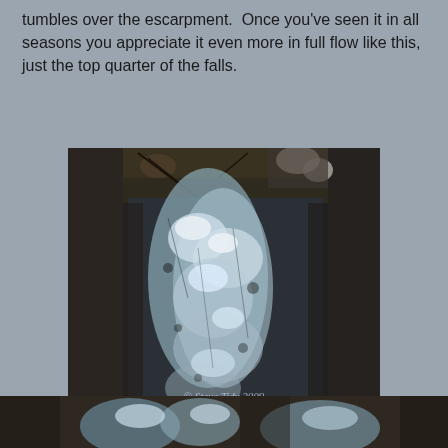tumbles over the escarpment.  Once you've seen it in all seasons you appreciate it even more in full flow like this, just the top quarter of the falls.
[Figure (photo): Close-up photograph of a waterfall tumbling over dark rocky escarpment, showing white rushing water cascading down dark stone. Watermark reads '© Steve Tidy 2009' at bottom of image.]
[Figure (photo): Partial photograph at the bottom of the page showing another view of a waterfall or natural landscape, cropped.]